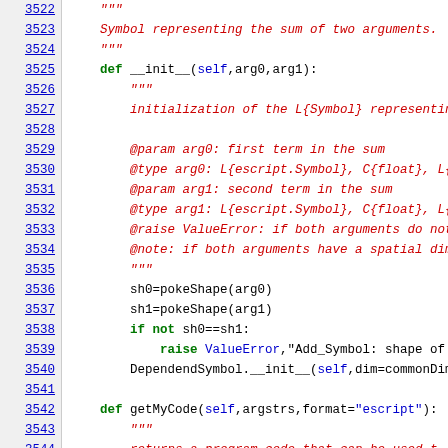[Figure (screenshot): Source code viewer showing Python code lines 3522-3544 with syntax highlighting. Line numbers in blue on left, code on right with keywords in green/bold, docstrings in red/italic, and regular code in black monospace font.]